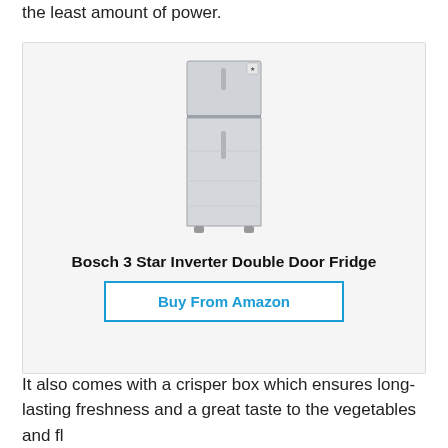the least amount of power.
[Figure (photo): Bosch 3 Star Inverter Double Door Fridge product image showing a silver/grey tall double-door refrigerator with freezer on top]
Bosch 3 Star Inverter Double Door Fridge
Buy From Amazon
It also comes with a crisper box which ensures long-lasting freshness and a great taste to the vegetables and fl...